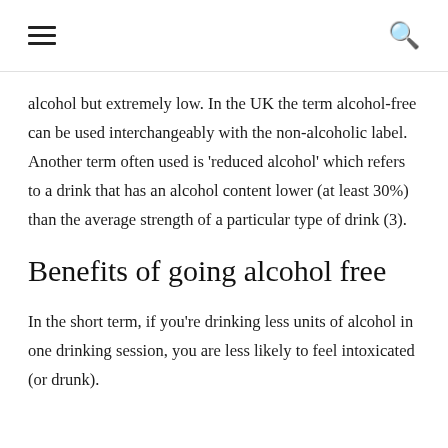≡  🔍
alcohol but extremely low. In the UK the term alcohol-free can be used interchangeably with the non-alcoholic label. Another term often used is 'reduced alcohol' which refers to a drink that has an alcohol content lower (at least 30%) than the average strength of a particular type of drink (3).
Benefits of going alcohol free
In the short term, if you're drinking less units of alcohol in one drinking session, you are less likely to feel intoxicated (or drunk).